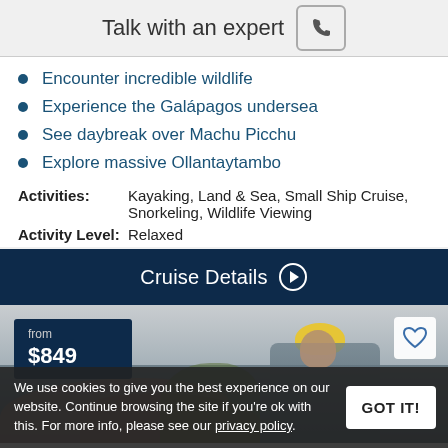Talk with an expert
Encounter incredible wildlife
Experience the Galápagos undersea
See daybreak over Machu Picchu
Explore massive Ollantaytambo
Activities: Kayaking, Land & Sea, Small Ship Cruise, Snorkeling, Wildlife Viewing
Activity Level: Relaxed
Cruise Details
[Figure (photo): Person outdoors with yellow hat and rocky landscape in background, price badge showing 'from $849']
We use cookies to give you the best experience on our website. Continue browsing the site if you're ok with this. For more info, please see our privacy policy.